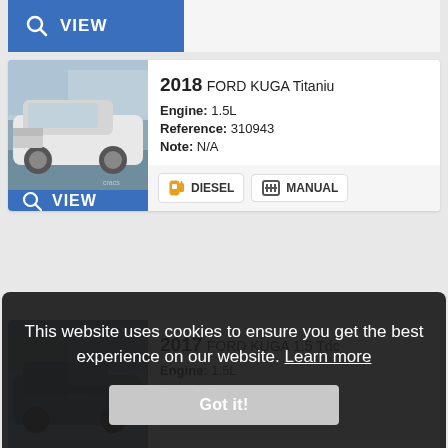[Figure (screenshot): Partial top car listing card showing VIEW button with magnifier icon on blue background]
[Figure (photo): Photo of white Ford Kuga with front damage, parked in a lot]
2018 FORD KUGA Titaniu
Engine: 1.5L
Reference: 310943
Note: N/A
DIESEL  MANUAL
VIEW
[Figure (photo): Photo of Ford Kuga 2017 in grey/dark setting]
2017 FORD KUGA 1.5 Tdc
Engine: 1.5L
Note: N/A
DIESEL  MANUAL
VIEW
This website uses cookies to ensure you get the best experience on our website. Learn more
Got it!